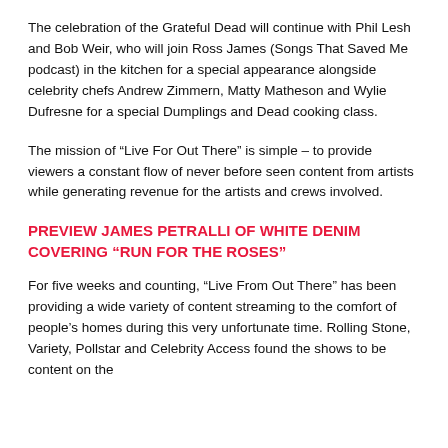The celebration of the Grateful Dead will continue with Phil Lesh and Bob Weir, who will join Ross James (Songs That Saved Me podcast) in the kitchen for a special appearance alongside celebrity chefs Andrew Zimmern, Matty Matheson and Wylie Dufresne for a special Dumplings and Dead cooking class.
The mission of “Live For Out There” is simple – to provide viewers a constant flow of never before seen content from artists while generating revenue for the artists and crews involved.
PREVIEW JAMES PETRALLI OF WHITE DENIM COVERING “RUN FOR THE ROSES”
For five weeks and counting, “Live From Out There” has been providing a wide variety of content streaming to the comfort of people’s homes during this very unfortunate time. Rolling Stone, Variety, Pollstar and Celebrity Access found the shows to be content on the...